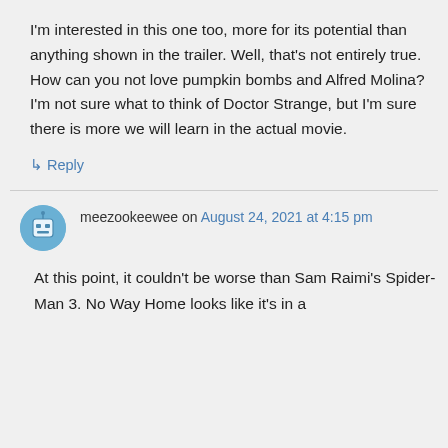I'm interested in this one too, more for its potential than anything shown in the trailer. Well, that's not entirely true. How can you not love pumpkin bombs and Alfred Molina? I'm not sure what to think of Doctor Strange, but I'm sure there is more we will learn in the actual movie.
↳ Reply
meezookeewee on August 24, 2021 at 4:15 pm
At this point, it couldn't be worse than Sam Raimi's Spider-Man 3. No Way Home looks like it's in a